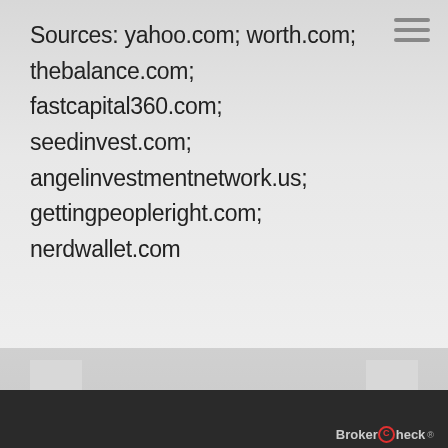Sources: yahoo.com; worth.com; thebalance.com; fastcapital360.com; seedinvest.com; angelinvestmentnetwork.us; gettingpeopleright.com; nerdwallet.com
PREV ARTICLE   NEXT ARTICLE
BrokerCheck